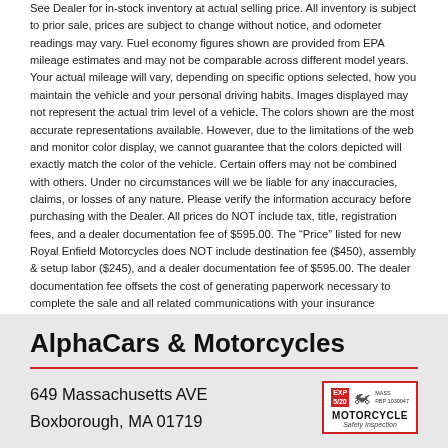See Dealer for in-stock inventory at actual selling price. All inventory is subject to prior sale, prices are subject to change without notice, and odometer readings may vary. Fuel economy figures shown are provided from EPA mileage estimates and may not be comparable across different model years. Your actual mileage will vary, depending on specific options selected, how you maintain the vehicle and your personal driving habits. Images displayed may not represent the actual trim level of a vehicle. The colors shown are the most accurate representations available. However, due to the limitations of the web and monitor color display, we cannot guarantee that the colors depicted will exactly match the color of the vehicle. Certain offers may not be combined with others. Under no circumstances will we be liable for any inaccuracies, claims, or losses of any nature. Please verify the information accuracy before purchasing with the Dealer. All prices do NOT include tax, title, registration fees, and a dealer documentation fee of $595.00. The “Price” listed for new Royal Enfield Motorcycles does NOT include destination fee ($450), assembly & setup labor ($245), and a dealer documentation fee of $595.00. The dealer documentation fee offsets the cost of generating paperwork necessary to complete the sale and all related communications with your insurance provider and banking institution and the compliance costs for keeping the records. We make every effort to present accurate information.
AlphaCars & Motorcycles
649 Massachusetts AVE
Boxborough, MA 01719
[Figure (logo): Motorcycle Safety Inspection badge with red border, EXP label, motorcycle icon, and text reading MOTORCYCLE Safety Inspection]